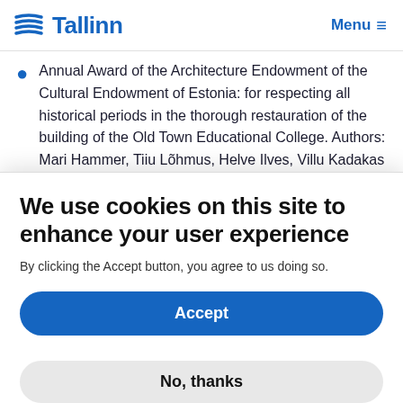Tallinn   Menu
Annual Award of the Architecture Endowment of the Cultural Endowment of Estonia: for respecting all historical periods in the thorough restauration of the building of the Old Town Educational College. Authors: Mari Hammer, Tiiu Lõhmus, Helve Ilves, Villu Kadakas
2007
We use cookies on this site to enhance your user experience
By clicking the Accept button, you agree to us doing so.
Accept
No, thanks
and won a €1000 grant. The grant was used for